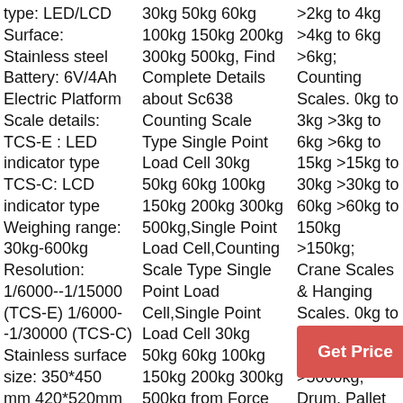type: LED/LCD Surface: Stainless steel Battery: 6V/4Ah Electric Platform Scale details: TCS-E : LED indicator type TCS-C: LCD indicator type Weighing range: 30kg-600kg Resolution: 1/6000--1/15000 (TCS-E) 1/6000--1/30000 (TCS-C) Stainless surface size: 350*450 mm 420*520mm 450 *600mm
30kg 50kg 60kg 100kg 150kg 200kg 300kg 500kg, Find Complete Details about Sc638 Counting Scale Type Single Point Load Cell 30kg 50kg 60kg 100kg 150kg 200kg 300kg 500kg,Single Point Load Cell,Counting Scale Type Single Point Load Cell,Single Point Load Cell 30kg 50kg 60kg 100kg 150kg 200kg 300kg 500kg from Force
>2kg to 4kg >4kg to 6kg >6kg; Counting Scales. 0kg to 3kg >3kg to 6kg >6kg to 15kg >15kg to 30kg >30kg to 60kg >60kg to 150kg >150kg; Crane Scales & Hanging Scales. 0kg to 500kg >500kg to 5000kg >5000kg; Drum, Pallet ...
Get Price